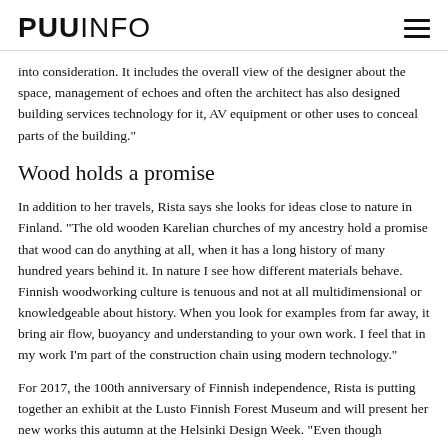PUUINFO
into consideration. It includes the overall view of the designer about the space, management of echoes and often the architect has also designed building services technology for it, AV equipment or other uses to conceal parts of the building."
Wood holds a promise
In addition to her travels, Rista says she looks for ideas close to nature in Finland. "The old wooden Karelian churches of my ancestry hold a promise that wood can do anything at all, when it has a long history of many hundred years behind it. In nature I see how different materials behave. Finnish woodworking culture is tenuous and not at all multidimensional or knowledgeable about history. When you look for examples from far away, it bring air flow, buoyancy and understanding to your own work. I feel that in my work I'm part of the construction chain using modern technology."
For 2017, the 100th anniversary of Finnish independence, Rista is putting together an exhibit at the Lusto Finnish Forest Museum and will present her new works this autumn at the Helsinki Design Week. "Even though